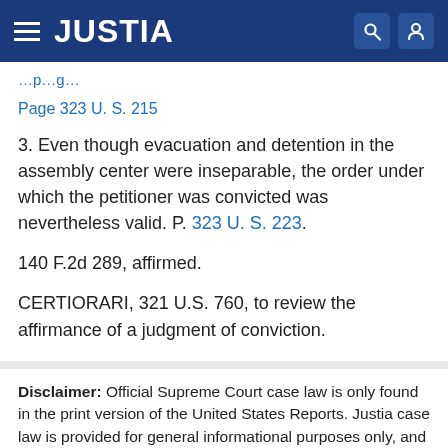JUSTIA
Page 323 U. S. 215
3. Even though evacuation and detention in the assembly center were inseparable, the order under which the petitioner was convicted was nevertheless valid. P. 323 U. S. 223.
140 F.2d 289, affirmed.
CERTIORARI, 321 U.S. 760, to review the affirmance of a judgment of conviction.
Disclaimer: Official Supreme Court case law is only found in the print version of the United States Reports. Justia case law is provided for general informational purposes only, and may not